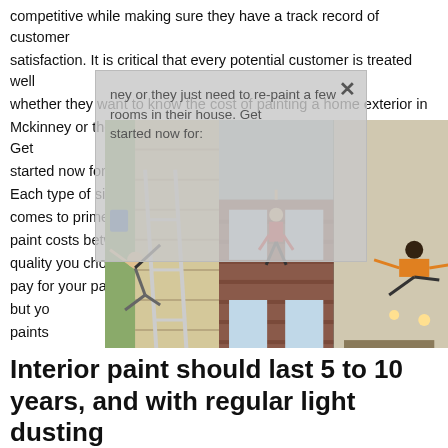competitive while making sure they have a track record of customer satisfaction. It is critical that every potential customer is treated well whether they want to know the cost of painting a home exterior in Mckinney or they just need to re-paint a few rooms in their house. Get started now for:
Each type of siding will need to be treated differently when it comes to primer and paint at different price points. Exterior paint costs between $35–$80 per gallon depending on the quality you choose. It's not always true that the more you pay for your paint, the longer-lasting your paint job will be, but you [or] paints [well]. Broom [link] Painters [in the part of] [humidity, and w] [ash wet la] [n affect] [rs will add as] tempe[...] House Painting [link]
[Figure (photo): Three photos side by side: left shows a person doing acrobatics on a ladder leaning against a house with light siding; center shows a person hanging from something on a brick house with ladders; right shows a person doing acrobatics indoors near ladders.]
Interior paint should last 5 to 10 years, and with regular light dusting